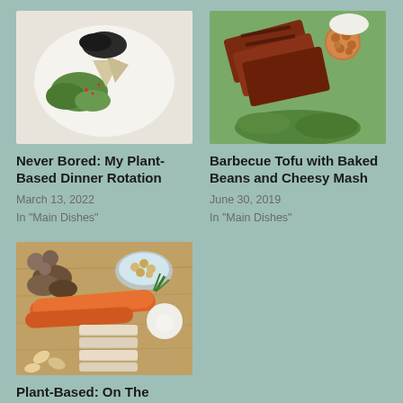[Figure (photo): Plant-based dish with tofu triangles, black rice, lettuce and vegetables on a white plate]
Never Bored: My Plant-Based Dinner Rotation
March 13, 2022
In "Main Dishes"
[Figure (photo): Barbecue tofu slices with baked beans on a green background]
Barbecue Tofu with Baked Beans and Cheesy Mash
June 30, 2019
In "Main Dishes"
[Figure (photo): Plant-based ingredients including carrots, sliced tofu, cashews, mushrooms, chickpeas and egg on a wooden surface]
Plant-Based: On The Cheap
July 18, 2021